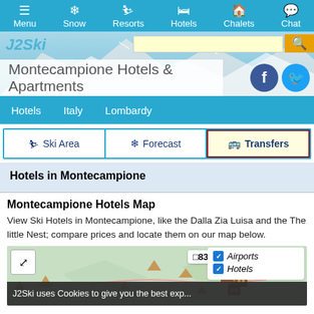Menu  Snow  Resorts  Hotels  Chalets  Chat
Montecampione Hotels & Apartments
Hotels > Italy > Lombardy
Ski Area
Forecast
Transfers
Hotels in Montecampione
Montecampione Hotels Map
View Ski Hotels in Montecampione, like the Dalla Zia Luisa and the The little Nest; compare prices and locate them on our map below.
[Figure (map): Interactive map of Montecampione hotels showing hotel icons on a terrain map with expand button, a popup label '83', and a legend panel showing checkboxes for Airports, Hotels, Ski R...]
J2Ski uses Cookies to give you the best exp...